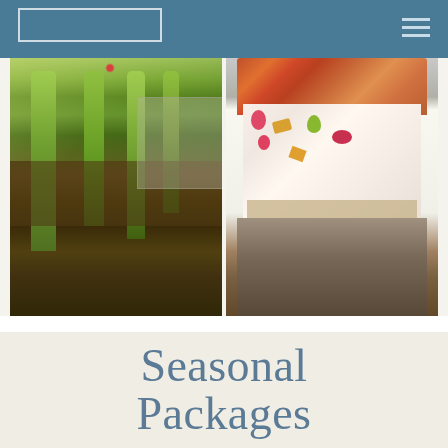[Navigation header with logo and hamburger menu]
[Figure (photo): Left photo: garden pathway with neatly trimmed boxwood hedges, colorful flowers, and French doors of a building in the background]
[Figure (photo): Right photo: decorative picnic basket or tray with a floral fabric, holding a colorful ceramic bowl with food on burlap]
Seasonal Packages